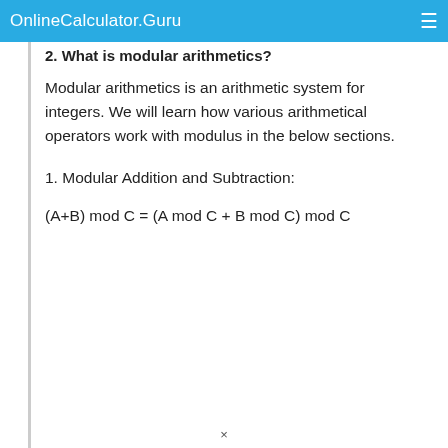OnlineCalculator.Guru
2. What is modular arithmetics?
Modular arithmetics is an arithmetic system for integers. We will learn how various arithmetical operators work with modulus in the below sections.
1. Modular Addition and Subtraction:
×